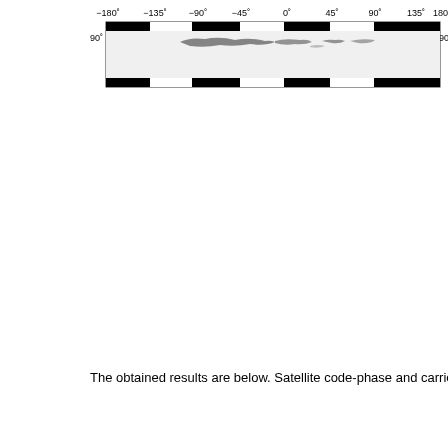[Figure (map): A world map shown as a narrow equirectangular strip cropped to show primarily the top portion (near 90° latitude). Longitude axis from -180° to 180° with tick labels at -135°, -90°, -45°, 0°, 45°, 90°, 135°. Latitude label 90° on both left and right sides. The map shows land mass outlines near the top (near North Pole / Arctic region) with black and white color scheme and a black border bar at top and bottom of the strip.]
The obtained results are below. Satellite code-phase and carrier-phase resid